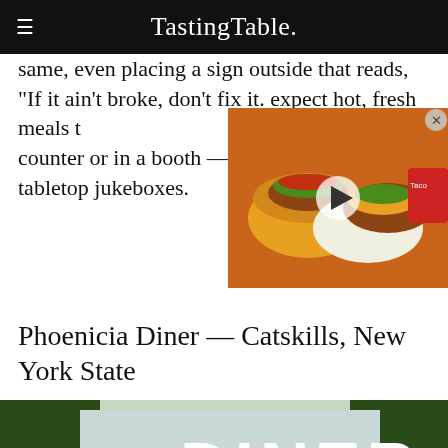Tasting Table.
same, even placing a sign outside that reads, "If it ain't broke, don't fix it." expect hot, fresh meals t… counter or in a booth — … tabletop jukeboxes.
[Figure (photo): Video thumbnail showing tacos and burritos with a play button overlay and close button]
Phoenicia Diner — Catskills, New York State
[Figure (photo): Exterior photo of a diner building with a large 'DINER' sign on the roof, surrounded by trees]